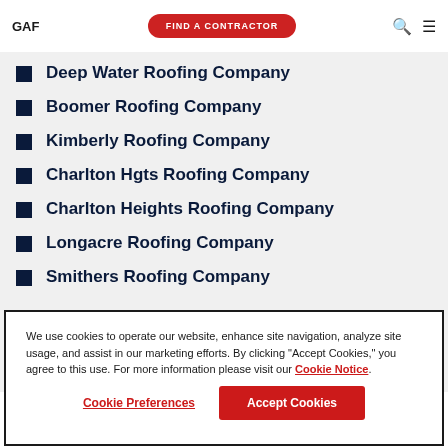GAF | FIND A CONTRACTOR
Deep Water Roofing Company
Boomer Roofing Company
Kimberly Roofing Company
Charlton Hgts Roofing Company
Charlton Heights Roofing Company
Longacre Roofing Company
Smithers Roofing Company
We use cookies to operate our website, enhance site navigation, analyze site usage, and assist in our marketing efforts. By clicking "Accept Cookies," you agree to this use. For more information please visit our Cookie Notice.
Cookie Preferences | Accept Cookies